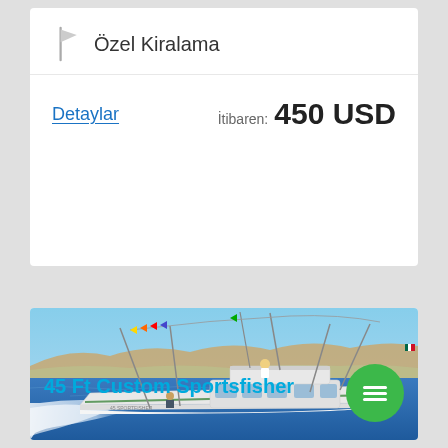Özel Kiralama
Detaylar
İtibaren: 450 USD
[Figure (photo): A large white sportfishing boat (45 ft Custom Sportsfisher) speeding through blue ocean water with colorful flags flying from outriggers, a sandy coastline in the background, clear blue sky, crew visible on deck.]
45 Ft Custom Sportsfisher